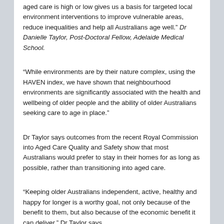aged care is high or low gives us a basis for targeted local environment interventions to improve vulnerable areas, reduce inequalities and help all Australians age well." Dr Danielle Taylor, Post-Doctoral Fellow, Adelaide Medical School.
“While environments are by their nature complex, using the HAVEN index, we have shown that neighbourhood environments are significantly associated with the health and wellbeing of older people and the ability of older Australians seeking care to age in place.”
Dr Taylor says outcomes from the recent Royal Commission into Aged Care Quality and Safety show that most Australians would prefer to stay in their homes for as long as possible, rather than transitioning into aged care.
“Keeping older Australians independent, active, healthy and happy for longer is a worthy goal, not only because of the benefit to them, but also because of the economic benefit it can deliver.” Dr Taylor says.